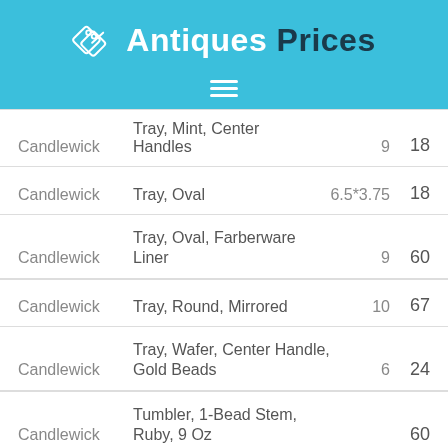Antiques Prices
| Brand | Description | Size | Price |
| --- | --- | --- | --- |
| Candlewick | Tray, Mint, Center Handles | 9 | 18 |
| Candlewick | Tray, Oval | 6.5*3.75 | 18 |
| Candlewick | Tray, Oval, Farberware Liner | 9 | 60 |
| Candlewick | Tray, Round, Mirrored | 10 | 67 |
| Candlewick | Tray, Wafer, Center Handle, Gold Beads | 6 | 24 |
| Candlewick | Tumbler, 1-Bead Stem, Ruby, 9 Oz |  | 60 |